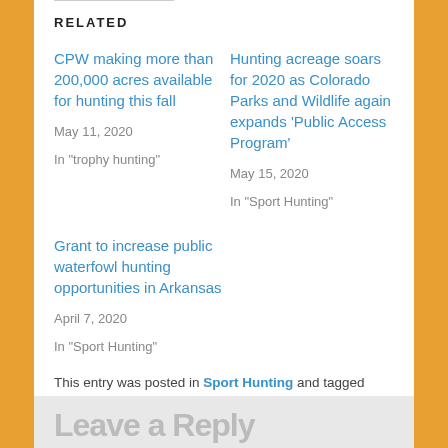RELATED
CPW making more than 200,000 acres available for hunting this fall
May 11, 2020
In "trophy hunting"
Hunting acreage soars for 2020 as Colorado Parks and Wildlife again expands 'Public Access Program'
May 15, 2020
In "Sport Hunting"
Grant to increase public waterfowl hunting opportunities in Arkansas
April 7, 2020
In "Sport Hunting"
This entry was posted in Sport Hunting and tagged Montana by Exposing the Big Game. Bookmark the permalink.